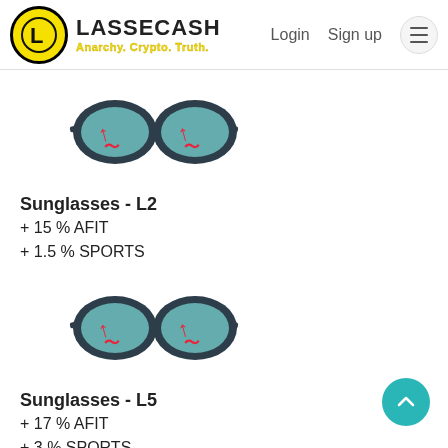LASSECASH — Anarchy. Crypto. Truth. | Login | Sign up
[Figure (illustration): Illustration of dark-framed sunglasses with teal lenses and red AFIT logo marks (Sunglasses L2 item)]
Sunglasses - L2
+ 15 % AFIT
+ 1.5 % SPORTS
[Figure (illustration): Illustration of dark-framed sunglasses with teal lenses and red AFIT logo marks (Sunglasses L5 item)]
Sunglasses - L5
+ 17 % AFIT
+ 3 % SPORTS
[Figure (illustration): Illustration of a dark blue and red sports baseball cap with AFIT logo (Sports Hat L1 item)]
Sports Hat - L1